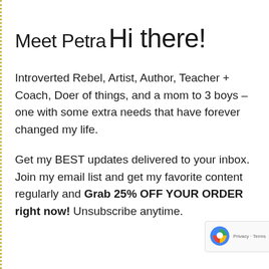Meet Petra
Hi there!
Introverted Rebel, Artist, Author, Teacher + Coach, Doer of things, and a mom to 3 boys – one with some extra needs that have forever changed my life.
Get my BEST updates delivered to your inbox. Join my email list and get my favorite content regularly and Grab 25% OFF YOUR ORDER right now! Unsubscribe anytime.